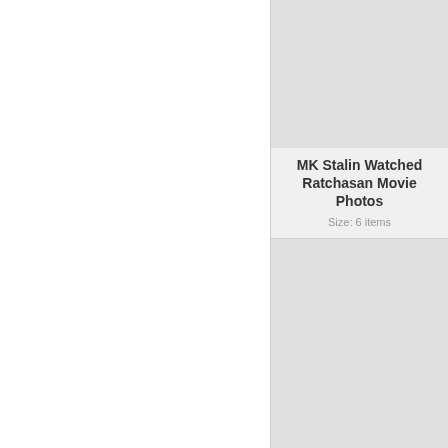MK Stalin Watched Ratchasan Movie Photos
Size: 6 items
Ratchasan Movie Success Photos
Size: 27 items